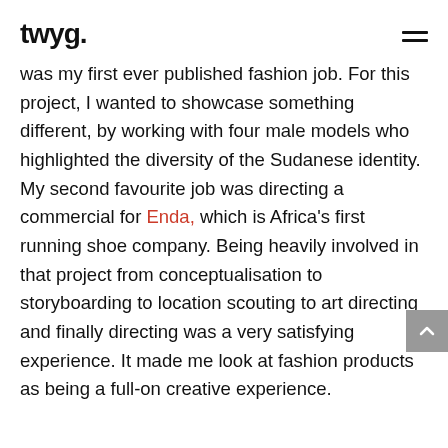twyg.
was my first ever published fashion job. For this project, I wanted to showcase something different, by working with four male models who highlighted the diversity of the Sudanese identity. My second favourite job was directing a commercial for Enda, which is Africa's first running shoe company. Being heavily involved in that project from conceptualisation to storyboarding to location scouting to art directing and finally directing was a very satisfying experience. It made me look at fashion products as being a full-on creative experience.